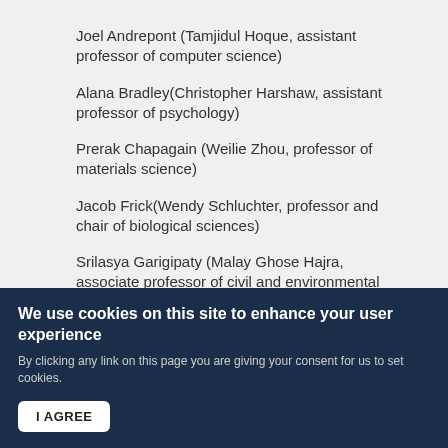Joel Andrepont (Tamjidul Hoque, assistant professor of computer science)
Alana Bradley(Christopher Harshaw, assistant professor of psychology)
Prerak Chapagain (Weilie Zhou, professor of materials science)
Jacob Frick(Wendy Schluchter, professor and chair of biological sciences)
Srilasya Garigipaty (Malay Ghose Hajra, associate professor of civil and environmental engineering)
We use cookies on this site to enhance your user experience
By clicking any link on this page you are giving your consent for us to set cookies.
I AGREE